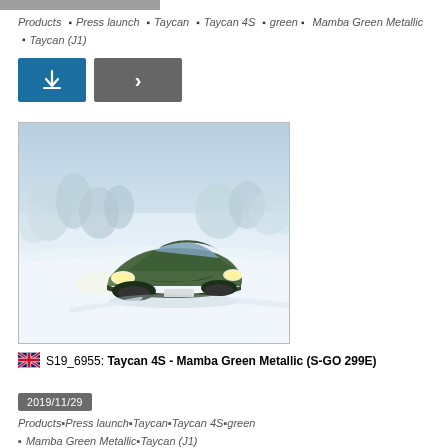Products • Press launch • Taycan • Taycan 4S • green • Mamba Green Metallic • Taycan (J1)
[Figure (illustration): Porsche Taycan 4S in Mamba Green Metallic driving on a snowy winter road with snow-covered trees in background]
S19_6955: Taycan 4S - Mamba Green Metallic (S-GO 299E)
2019/11/29
Products • Press launch • Taycan • Taycan 4S • green • Mamba Green Metallic • Taycan (J1)